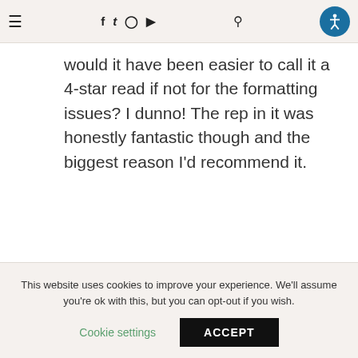≡ f t ⬛ ▶ 🔍 [accessibility icon]
would it have been easier to call it a 4-star read if not for the formatting issues? I dunno! The rep in it was honestly fantastic though and the biggest reason I'd recommend it.
★ Loading...
This website uses cookies to improve your experience. We'll assume you're ok with this, but you can opt-out if you wish.
Cookie settings  ACCEPT